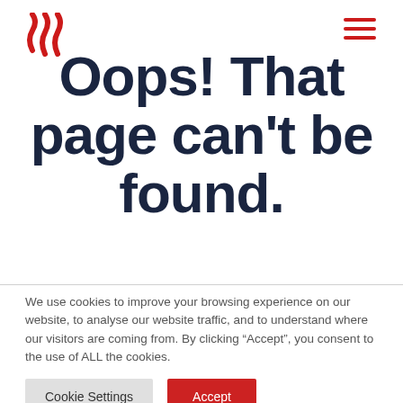Logo and navigation header
Oops! That page can't be found.
We use cookies to improve your browsing experience on our website, to analyse our website traffic, and to understand where our visitors are coming from. By clicking “Accept”, you consent to the use of ALL the cookies.
Cookie Settings
Accept